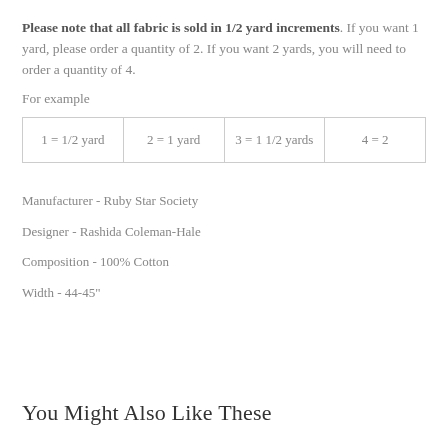Please note that all fabric is sold in 1/2 yard increments. If you want 1 yard, please order a quantity of 2. If you want 2 yards, you will need to order a quantity of 4.
For example
| 1 = 1/2 yard | 2 = 1 yard | 3 = 1 1/2 yards | 4 = 2 |
Manufacturer - Ruby Star Society
Designer - Rashida Coleman-Hale
Composition - 100% Cotton
Width - 44-45"
You Might Also Like These